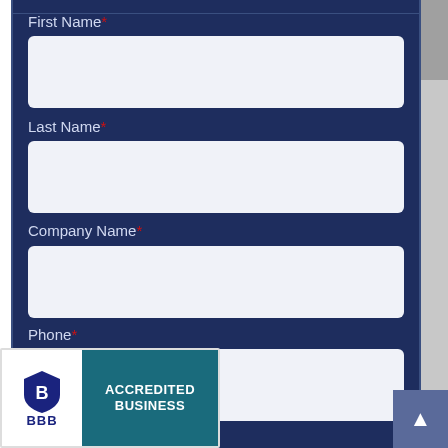First Name *
Last Name *
Company Name *
Phone *
Email to Send Your Quote *
[Figure (logo): BBB Accredited Business badge with shield logo and teal panel]
Click here to receive related information...